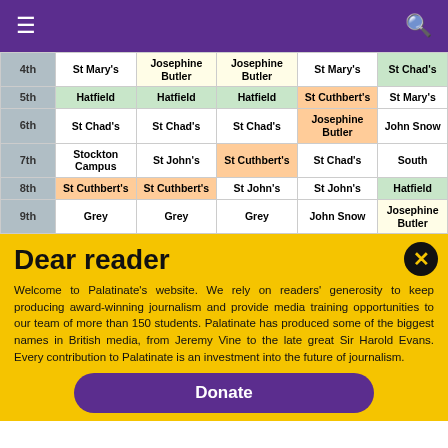Navigation header with hamburger menu and search icon
|  | Col1 | Col2 | Col3 | Col4 | Col5 |
| --- | --- | --- | --- | --- | --- |
| 4th | St Mary's | Josephine Butler | Josephine Butler | St Mary's | St Chad's |
| 5th | Hatfield | Hatfield | Hatfield | St Cuthbert's | St Mary's |
| 6th | St Chad's | St Chad's | St Chad's | Josephine Butler | John Snow |
| 7th | Stockton Campus | St John's | St Cuthbert's | St Chad's | South |
| 8th | St Cuthbert's | St Cuthbert's | St John's | St John's | Hatfield |
| 9th | Grey | Grey | Grey | John Snow | Josephine Butler |
Dear reader
Welcome to Palatinate's website. We rely on readers' generosity to keep producing award-winning journalism and provide media training opportunities to our team of more than 150 students. Palatinate has produced some of the biggest names in British media, from Jeremy Vine to the late great Sir Harold Evans. Every contribution to Palatinate is an investment into the future of journalism.
Donate